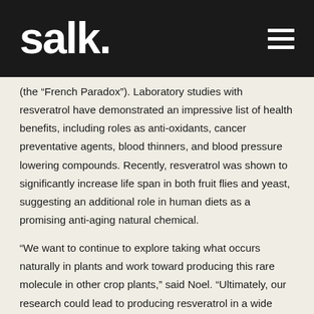salk.
(the “French Paradox”). Laboratory studies with resveratrol have demonstrated an impressive list of health benefits, including roles as anti-oxidants, cancer preventative agents, blood thinners, and blood pressure lowering compounds. Recently, resveratrol was shown to significantly increase life span in both fruit flies and yeast, suggesting an additional role in human diets as a promising anti-aging natural chemical.
“We want to continue to explore taking what occurs naturally in plants and work toward producing this rare molecule in other crop plants,” said Noel. “Ultimately, our research could lead to producing resveratrol in a wide array of fruits and vegetables.”